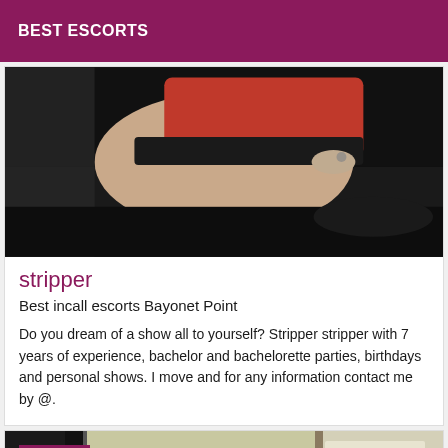BEST ESCORTS
[Figure (photo): Photo of a person in red and black lingerie lying on a dark surface, midriff visible]
stripper
Best incall escorts Bayonet Point
Do you dream of a show all to yourself? Stripper stripper with 7 years of experience, bachelor and bachelorette parties, birthdays and personal shows. I move and for any information contact me by @.
[Figure (photo): Photo showing a room interior, partially visible, with a Verified badge overlay]